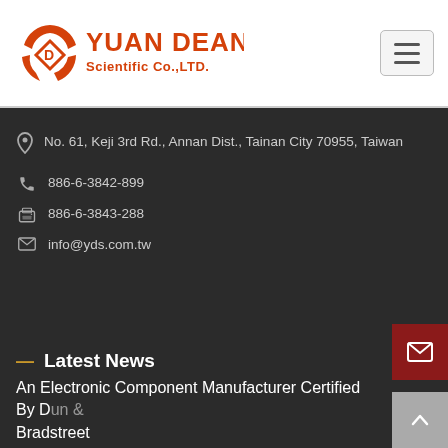[Figure (logo): Yuan Dean Scientific Co., LTD. logo with orange text and icon]
No. 61, Keji 3rd Rd., Annan Dist., Tainan City 70955, Taiwan
886-6-3842-899
886-6-3843-288
info@yds.com.tw
Latest News
An Electronic Component Manufacturer Certified By Dun & Bradstreet